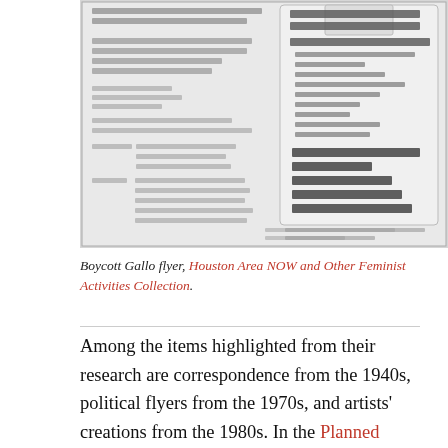[Figure (photo): Grayscale scan of a Boycott Gallo flyer showing text about boycotting grapes, iceberg lettuce, and Gallo wines, with mailing and phone contact information for United Farm Workers, and a list of wine brands to avoid.]
Boycott Gallo flyer, Houston Area NOW and Other Feminist Activities Collection.
Among the items highlighted from their research are correspondence from the 1940s, political flyers from the 1970s, and artists' creations from the 1980s.  In the Planned Parenthood of Houston & Southeast